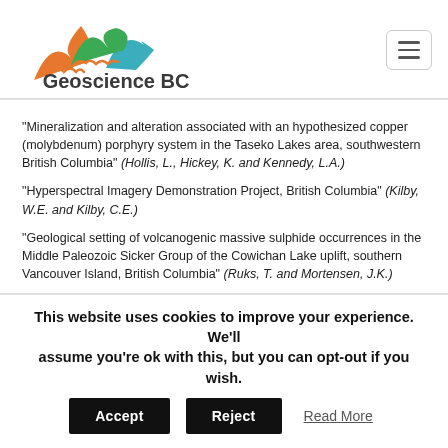[Figure (logo): Geoscience BC logo with mountain graphic in orange, green, and teal, and bold text 'Geoscience BC' below]
"Mineralization and alteration associated with an hypothesized copper (molybdenum) porphyry system in the Taseko Lakes area, southwestern British Columbia" (Hollis, L., Hickey, K. and Kennedy, L.A.)
"Hyperspectral Imagery Demonstration Project, British Columbia" (Kilby, W.E. and Kilby, C.E.)
"Geological setting of volcanogenic massive sulphide occurrences in the Middle Paleozoic Sicker Group of the Cowichan Lake uplift, southern Vancouver Island, British Columbia" (Ruks, T. and Mortensen, J.K.)
"New models for mineral exploration in British Columbia: is there a
This website uses cookies to improve your experience. We'll assume you're ok with this, but you can opt-out if you wish. Accept Reject Read More